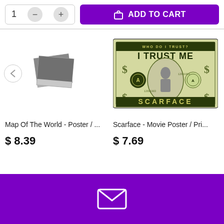[Figure (screenshot): Add to cart UI bar with quantity selector showing 1, minus and plus buttons, and purple ADD TO CART button with shopping bag icon]
[Figure (photo): Placeholder polaroid-style image for Map Of The World poster product]
[Figure (photo): Scarface movie poster styled as a dollar bill with I TRUST ME text and Scarface character]
Map Of The World - Poster / ...
$ 8.39
Scarface - Movie Poster / Pri...
$ 7.69
[Figure (illustration): White envelope/mail icon on purple footer background]